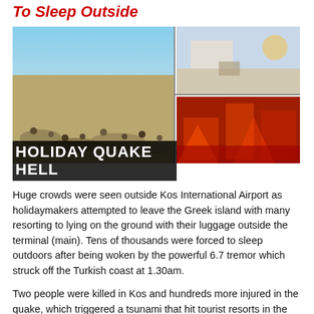To Sleep Outside
[Figure (photo): Composite news photo showing crowds outside Kos International Airport (left), holidaymakers being assisted (top right), and earthquake-damaged buildings with debris (bottom right). Text overlay reads HOLIDAY QUAKE HELL.]
Huge crowds were seen outside Kos International Airport as holidaymakers attempted to leave the Greek island with many resorting to lying on the ground with their luggage outside the terminal (main). Tens of thousands were forced to sleep outdoors after being woken by the powerful 6.7 tremor which struck off the Turkish coast at 1.30am.
Two people were killed in Kos and hundreds more injured in the quake, which triggered a tsunami that hit tourist resorts in the Mediterranean and Aegean Seas and damaged buildings (bottom right). Holidaymakers fled hotels in terror and some even jumped from balconies as the quake hit before running for their lives to higher ground as tsunami